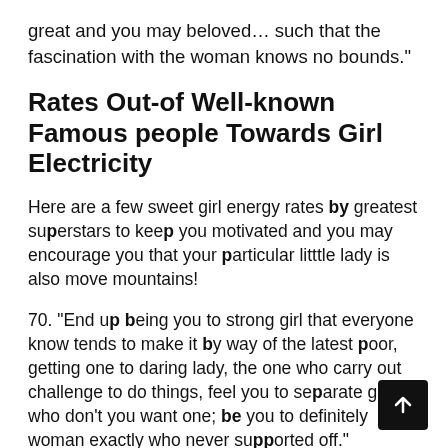great and you may beloved... such that the fascination with the woman knows no bounds."
Rates Out-of Well-known Famous people Towards Girl Electricity
Here are a few sweet girl energy rates by greatest superstars to keep you motivated and you may encourage you that your particular litttle lady is also move mountains!
70. "End up being you to strong girl that everyone know tends to make it by way of the latest poor, getting one to daring lady, the one who carry out challenge to do things, feel you to separate girl who don't you want one; be you to definitely woman exactly who never supported off."